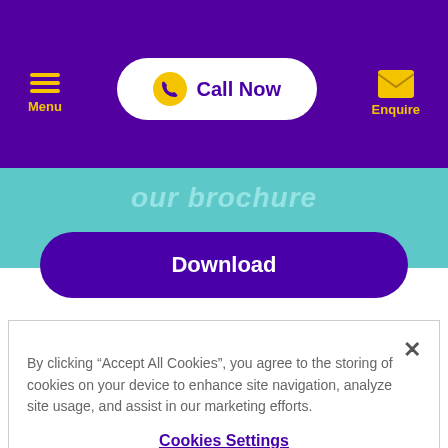Menu | Call Now | Enquire
our brochure
Download
By clicking “Accept All Cookies”, you agree to the storing of cookies on your device to enhance site navigation, analyze site usage, and assist in our marketing efforts.
Cookies Settings
Reject All
Accept All Cookies